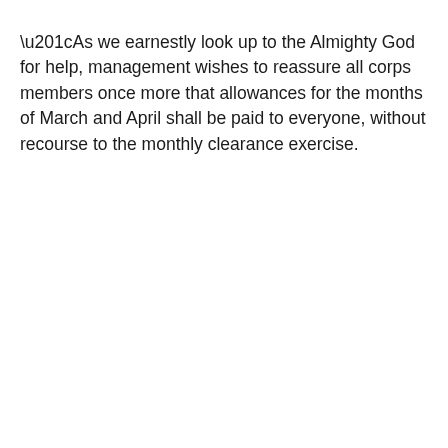“As we earnestly look up to the Almighty God for help, management wishes to reassure all corps members once more that allowances for the months of March and April shall be paid to everyone, without recourse to the monthly clearance exercise.